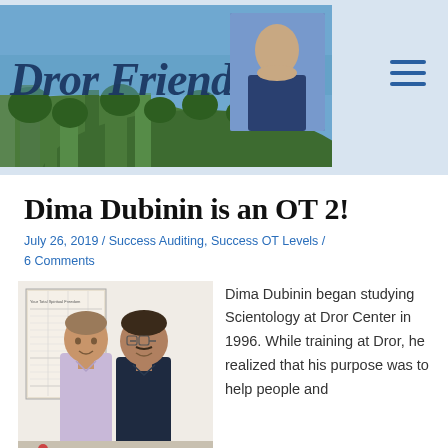Dror Friends
Dima Dubinin is an OT 2!
July 26, 2019 / Success Auditing, Success OT Levels / 6 Comments
[Figure (photo): Two men standing together in front of a wall with a Scientology chart poster. Left man wears light lavender shirt, right man wears dark navy shirt.]
Dima Dubinin began studying Scientology at Dror Center in 1996. While training at Dror, he realized that his purpose was to help people and